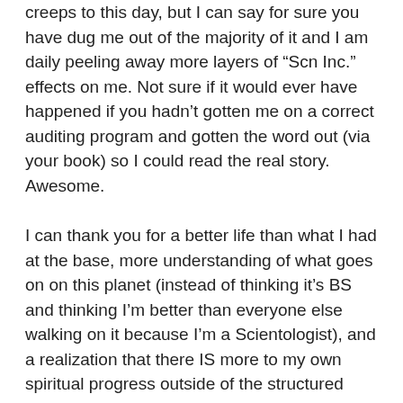creeps to this day, but I can say for sure you have dug me out of the majority of it and I am daily peeling away more layers of “Scn Inc.” effects on me. Not sure if it would ever have happened if you hadn’t gotten me on a correct auditing program and gotten the word out (via your book) so I could read the real story. Awesome.
I can thank you for a better life than what I had at the base, more understanding of what goes on on this planet (instead of thinking it’s BS and thinking I’m better than everyone else walking on it because I’m a Scientologist), and a realization that there IS more to my own spiritual progress outside of the structured “church.” That's the best part!